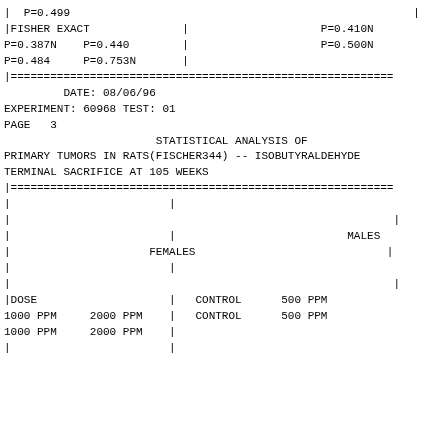|  P=0.499                                                    |
|FISHER EXACT              |                    P=0.410N
P=0.387N    P=0.440        |                    P=0.500N
P=0.484     P=0.753N       |
|==========================================================
DATE: 08/06/96
EXPERIMENT: 60968 TEST: 01
PAGE   3
STATISTICAL ANALYSIS OF
PRIMARY TUMORS IN RATS(FISCHER344) -- ISOBUTYRALDEHYDE
TERMINAL SACRIFICE AT 105 WEEKS
|==========================================================
|                        |
|                                                          |
|                        |                          MALES
|                     FEMALES                             |
|                        |
|                                                          |
|DOSE                    |   CONTROL      500 PPM
1000 PPM     2000 PPM    |   CONTROL      500 PPM
1000 PPM     2000 PPM    |
|                        |